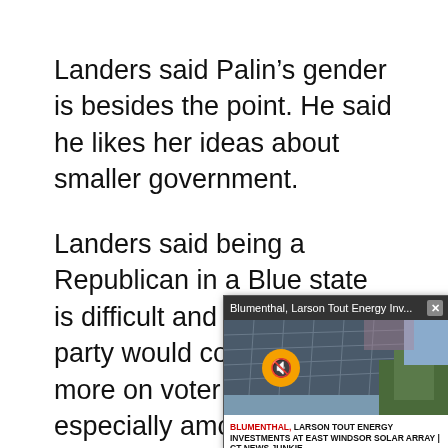Landers said Palin’s gender is besides the point. He said he likes her ideas about smaller government.
Landers said being a Republican in a Blue state is difficult and wishes the party would concentrate more on voter registration, especially among y…
Theresa McGrath … McCain’s speech w… who is running for… 19th House Distric…
[Figure (screenshot): Video overlay popup with title bar reading 'Blumenthal, Larson Tout Energy Inv... x', showing solar panels image with mute button, and caption 'BLUMENTHAL, LARSON TOUT ENERGY INVESTMENTS AT EAST WINDSOR SOLAR ARRAY | CT NEWS JUNKIE']